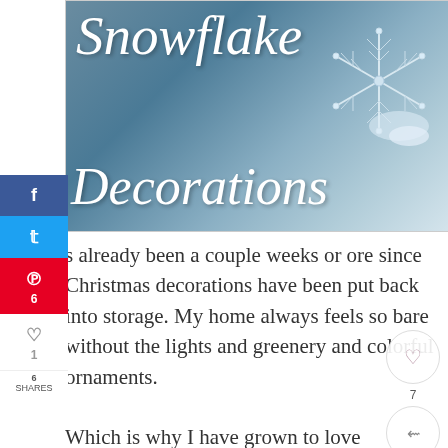[Figure (photo): Hero image showing a close-up snowflake crystal on a blurred blue-grey background with cursive text overlay reading 'Snowflake Decorations']
s already been a couple weeks or ore since Christmas decorations have been put back into storage. My home always feels so bare without the lights and greenery and colorful ornaments.
Which is why I have grown to love